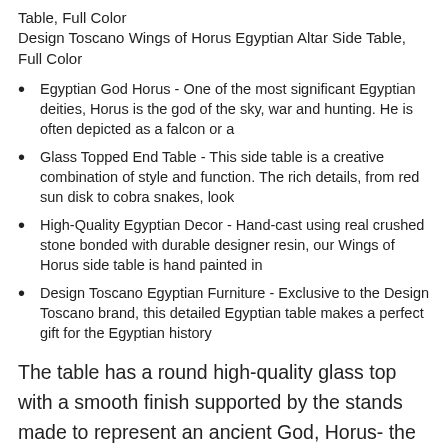Table, Full Color
Design Toscano Wings of Horus Egyptian Altar Side Table, Full Color
Egyptian God Horus - One of the most significant Egyptian deities, Horus is the god of the sky, war and hunting. He is often depicted as a falcon or a
Glass Topped End Table - This side table is a creative combination of style and function. The rich details, from red sun disk to cobra snakes, look
High-Quality Egyptian Decor - Hand-cast using real crushed stone bonded with durable designer resin, our Wings of Horus side table is hand painted in
Design Toscano Egyptian Furniture - Exclusive to the Design Toscano brand, this detailed Egyptian table makes a perfect gift for the Egyptian history
The table has a round high-quality glass top with a smooth finish supported by the stands made to represent an ancient God, Horus- the god of the sky, war, and hunting. The bright golden color is well complemented by the red sun and the deep